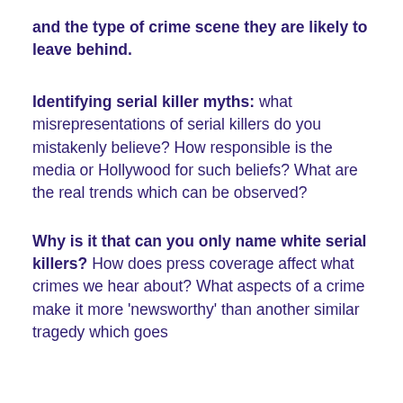and the type of crime scene they are likely to leave behind.
Identifying serial killer myths: what misrepresentations of serial killers do you mistakenly believe? How responsible is the media or Hollywood for such beliefs? What are the real trends which can be observed?
Why is it that can you only name white serial killers? How does press coverage affect what crimes we hear about? What aspects of a crime make it more 'newsworthy' than another similar tragedy which goes